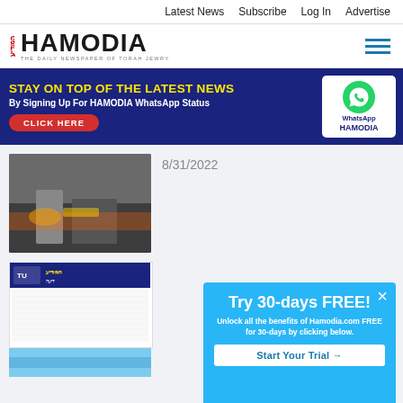Latest News  Subscribe  Log In  Advertise
[Figure (logo): Hamodia newspaper logo with Hebrew text and subtitle 'THE DAILY NEWSPAPER OF TORAH JEWRY']
[Figure (infographic): Banner ad: STAY ON TOP OF THE LATEST NEWS By Signing Up For HAMODIA WhatsApp Status CLICK HERE, with WhatsApp logo and HAMODIA branding]
8/31/2022
[Figure (photo): News article photo showing emergency responders near vehicles]
[Figure (screenshot): Partial article screenshot with Hebrew/English text]
[Figure (infographic): Popup overlay: Try 30-days FREE! Unlock all the benefits of Hamodia.com FREE for 30-days by clicking below. Start Your Trial →]
[Figure (photo): Partial article image at bottom, light blue tones]